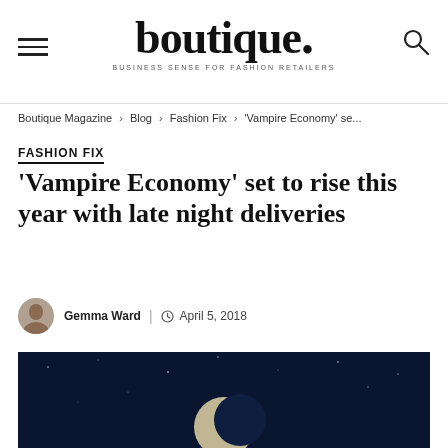boutique. — BUSINESS SENSE FOR FASHION RETAILERS
Boutique Magazine › Blog › Fashion Fix › 'Vampire Economy' se...
FASHION FIX
'Vampire Economy' set to rise this year with late night deliveries
Gemma Ward | April 5, 2018
[Figure (photo): Dark navy night sky with a crescent moon visible, used as hero image for the article about Vampire Economy]